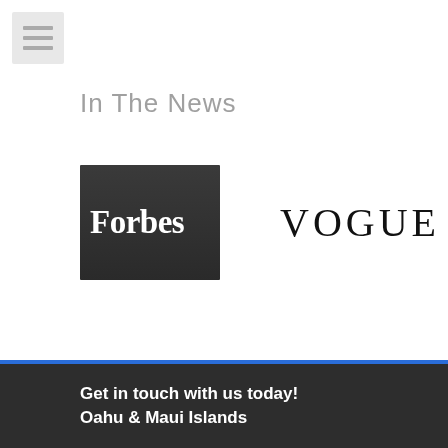[Figure (other): Hamburger menu icon — three horizontal grey lines on a light grey square background]
In The News
[Figure (logo): Forbes logo — white serif text 'Forbes' on a dark grey/charcoal square background]
[Figure (logo): Vogue logo — black serif text 'VOGUE' with wide letter spacing on white background]
Get in touch with us today!
Oahu & Maui Islands